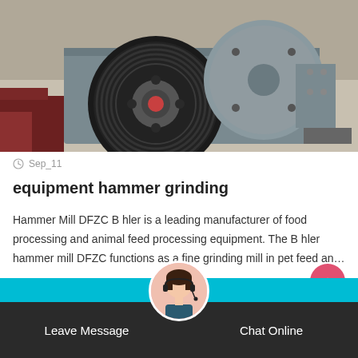[Figure (photo): Industrial hammer mill / grinding machine with large black pulley wheel and grey body, photographed outdoors]
Sep_11
equipment hammer grinding
Hammer Mill DFZC B hler is a leading manufacturer of food processing and animal feed processing equipment. The B hler hammer mill DFZC functions as a fine grinding mill in pet feed an…
Leave Message   Chat Online